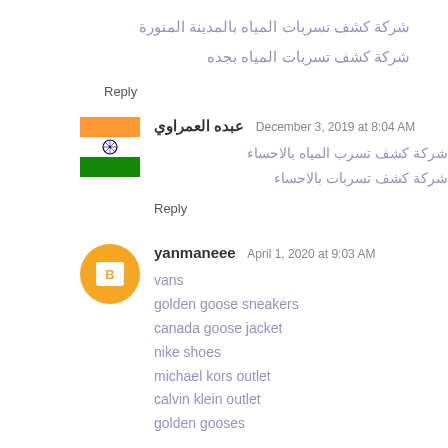شركة كشف تسربات المياه بالمدينة المنورة
شركة كشف تسربات المياه بجده
Reply
عبده العمراوي   December 3, 2019 at 8:04 AM
شركة كشف تسرب المياه بالاحساء
شركة كشف تسربات بالاحساء
Reply
yanmaneee   April 1, 2020 at 9:03 AM
vans
golden goose sneakers
canada goose jacket
nike shoes
michael kors outlet
calvin klein outlet
golden gooses